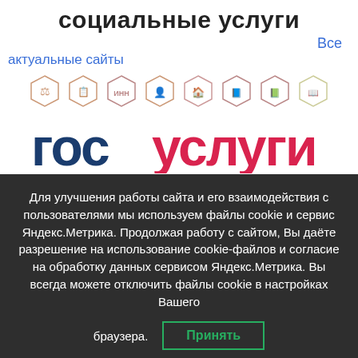социальные услуги
Все актуальные сайты
[Figure (illustration): Row of 8 hexagonal icon badges representing various government service categories (scales, documents, INN, person, home, passport, booklet, book)]
[Figure (logo): Gosuslugi logo: 'гос' in dark blue bold text followed by 'услуги' in red bold text]
[Figure (illustration): Row of 8 circular icon badges representing additional government service categories]
Для улучшения работы сайта и его взаимодействия с пользователями мы используем файлы cookie и сервис Яндекс.Метрика. Продолжая работу с сайтом, Вы даёте разрешение на использование cookie-файлов и согласие на обработку данных сервисом Яндекс.Метрика. Вы всегда можете отключить файлы cookie в настройках Вашего браузера.
Принять